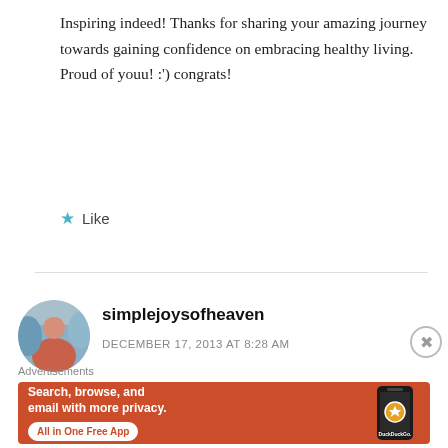Inspiring indeed! Thanks for sharing your amazing journey towards gaining confidence on embracing healthy living. Proud of youu! :') congrats!
★ Like
[Figure (photo): Circular avatar photo of a woman in orange clothing, outdoors near a waterway]
simplejoysofheaven
DECEMBER 17, 2013 AT 8:28 AM
Advertisements
[Figure (screenshot): DuckDuckGo advertisement with orange background: 'Search, browse, and email with more privacy. All in One Free App' with phone image and DuckDuckGo logo]